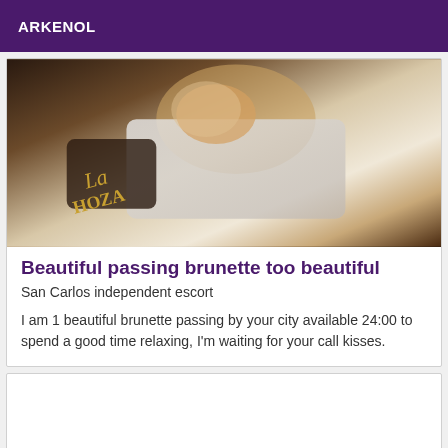ARKENOL
[Figure (photo): Photo of a blonde woman lying down wearing a white top, with a hat visible in the foreground with text 'La HOZA']
Beautiful passing brunette too beautiful
San Carlos independent escort
I am 1 beautiful brunette passing by your city available 24:00 to spend a good time relaxing, I'm waiting for your call kisses.